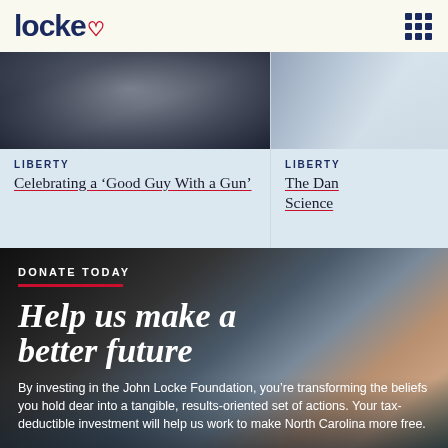locke
[Figure (photo): Blurred dark photo of a person's face]
LIBERTY
Celebrating a ‘Good Guy With a Gun’
[Figure (photo): Partially visible light-toned photo]
LIBERTY
The Dan... Science
DONATE TODAY
Help us make a better future
By investing in the John Locke Foundation, you’re transforming the beliefs you hold dear into a tangible, results-oriented set of actions. Your tax-deductible investment will help us work to make North Carolina more free.